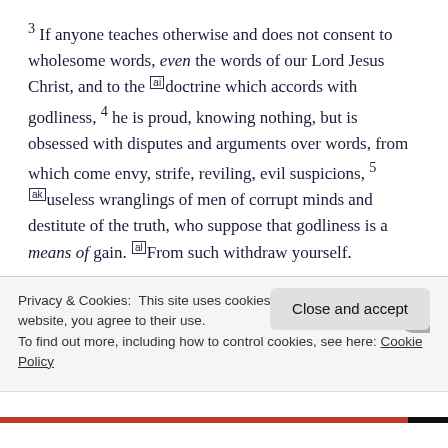3 If anyone teaches otherwise and does not consent to wholesome words, even the words of our Lord Jesus Christ, and to the [ai]doctrine which accords with godliness, 4 he is proud, knowing nothing, but is obsessed with disputes and arguments over words, from which come envy, strife, reviling, evil suspicions, 5 [ak]useless wranglings of men of corrupt minds and destitute of the truth, who suppose that godliness is a means of gain. [al]From such withdraw yourself.
6 Now godliness with contentment is great gain. 7 For we brought nothing into this world, [am]and it is certain we can
Privacy & Cookies: This site uses cookies. By continuing to use this website, you agree to their use.
To find out more, including how to control cookies, see here: Cookie Policy